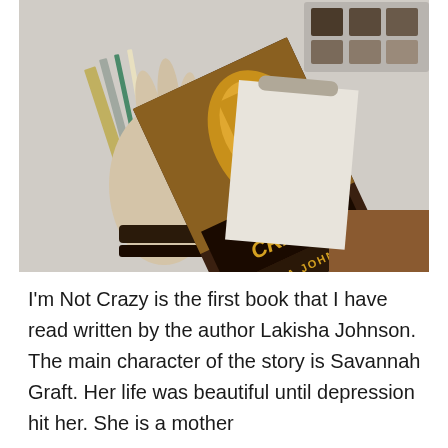[Figure (photo): A photograph of a book titled 'I'm Not Crazy' by Lakisha Johnson resting on a white desk surface with drawing tools, pencils, a ruler, and small containers around it. The book cover shows a Black woman with golden skin tones holding her face dramatically, with large gold graffiti-style text reading 'I'M NOT CRAZY' and the author name 'LAKISHA JOHNSON' at the bottom.]
I'm Not Crazy is the first book that I have read written by the author Lakisha Johnson. The main character of the story is Savannah Graft. Her life was beautiful until depression hit her. She is a mother